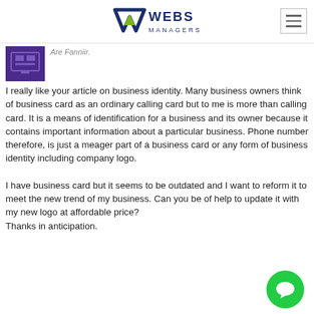[Figure (logo): Webs Managers logo with stylized W/A shape in navy and green, text WEBS MANAGERS]
[Figure (other): Hamburger menu icon (three horizontal lines) in a bordered box]
[Figure (other): Purple avatar/user icon box]
I really like your article on business identity. Many business owners think of business card as an ordinary calling card but to me is more than calling card. It is a means of identification for a business and its owner because it contains important information about a particular business. Phone number therefore, is just a meager part of a business card or any form of business identity including company logo.
I have business card but it seems to be outdated and I want to reform it to meet the new trend of my business. Can you be of help to update it with my new logo at affordable price?
Thanks in anticipation.
[Figure (other): Green circular chat/message bubble icon at bottom right]